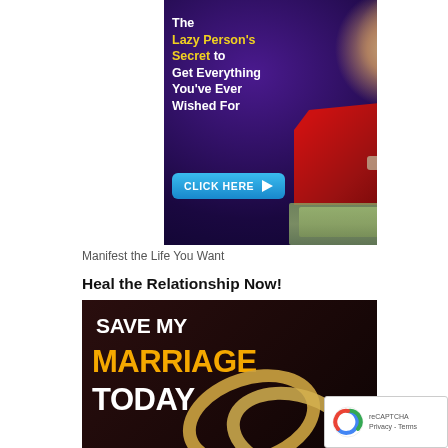[Figure (illustration): Advertisement banner: purple starry background with a couple (man and woman smiling), a red sports car, stacks of money, bold white and yellow text reading 'The Lazy Person's Secret to Get Everything You've Ever Wished For' and a blue 'CLICK HERE' button with a play arrow.]
Manifest the Life You Want
Heal the Relationship Now!
[Figure (illustration): Advertisement banner: dark background with two gold wedding rings, bold white text 'SAVE MY' and 'TODAY', bold yellow/gold text 'MARRIAGE'.]
[Figure (other): reCAPTCHA privacy badge with blue circular arrow logo and text 'Privacy - Terms']